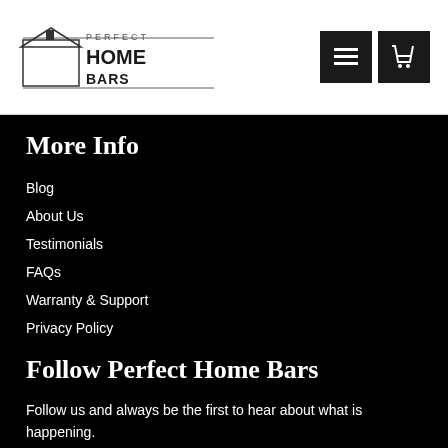[Figure (logo): Perfect Home Bars logo with house/bar icon and text]
More Info
Blog
About Us
Testimonials
FAQs
Warranty & Support
Privacy Policy
Follow Perfect Home Bars
Follow us and always be the first to hear about what is happening.
[Figure (other): Social media icons: Facebook, LinkedIn, Instagram, Email]